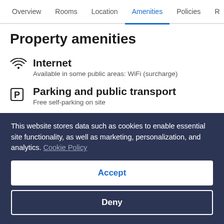Overview | Rooms | Location | Amenities | Policies | R
Property amenities
Internet
Available in some public areas: WiFi (surcharge)
Parking and public transport
Free self-parking on site
This website stores data such as cookies to enable essential site functionality, as well as marketing, personalization, and analytics. Cookie Policy
Accept
Deny